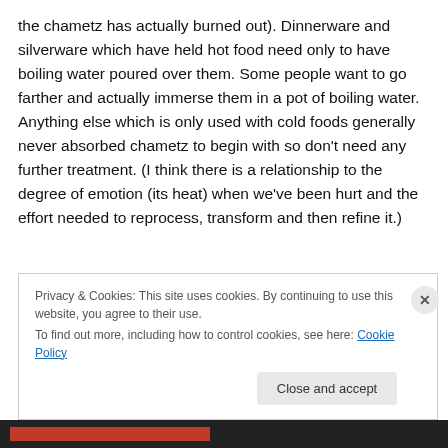the chametz has actually burned out). Dinnerware and silverware which have held hot food need only to have boiling water poured over them. Some people want to go farther and actually immerse them in a pot of boiling water. Anything else which is only used with cold foods generally never absorbed chametz to begin with so don't need any further treatment. (I think there is a relationship to the degree of emotion (its heat) when we've been hurt and the effort needed to reprocess, transform and then refine it.)
Privacy & Cookies: This site uses cookies. By continuing to use this website, you agree to their use.
To find out more, including how to control cookies, see here: Cookie Policy